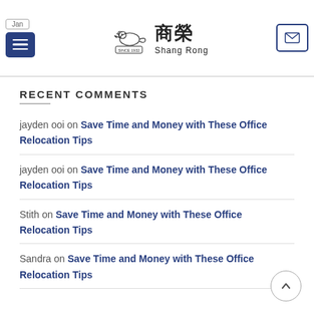Shang Rong — site header with logo, hamburger menu, mail icon
RECENT COMMENTS
jayden ooi on Save Time and Money with These Office Relocation Tips
jayden ooi on Save Time and Money with These Office Relocation Tips
Stith on Save Time and Money with These Office Relocation Tips
Sandra on Save Time and Money with These Office Relocation Tips